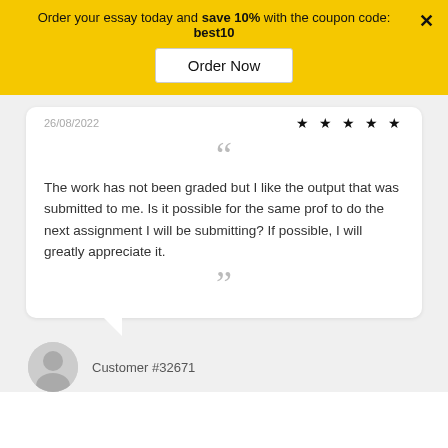Order your essay today and save 10% with the coupon code: best10
Order Now
26/08/2022
[Figure (other): Five black star rating icons]
The work has not been graded but I like the output that was submitted to me. Is it possible for the same prof to do the next assignment I will be submitting? If possible, I will greatly appreciate it.
Customer #32671